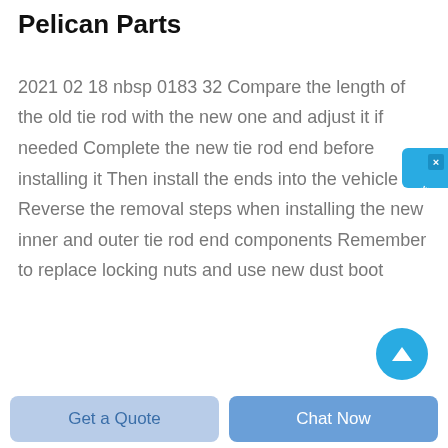Tie Rod End Replacement - Pelican Parts
2021 02 18 nbsp 0183 32 Compare the length of the old tie rod with the new one and adjust it if needed Complete the new tie rod end before installing it Then install the ends into the vehicle Reverse the removal steps when installing the new inner and outer tie rod end components Remember to replace locking nuts and use new dust boot
Get a Quote
Chat Now